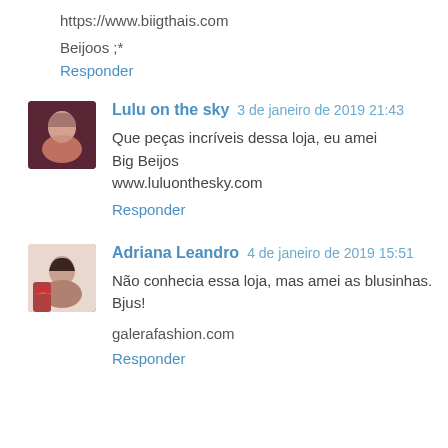https://www.biigthais.com
Beijoos ;*
Responder
Lulu on the sky  3 de janeiro de 2019 21:43
Que peças incríveis dessa loja, eu amei
Big Beijos
www.luluonthesky.com
Responder
Adriana Leandro  4 de janeiro de 2019 15:51
Não conhecia essa loja, mas amei as blusinhas.
Bjus!

galerafashion.com
Responder